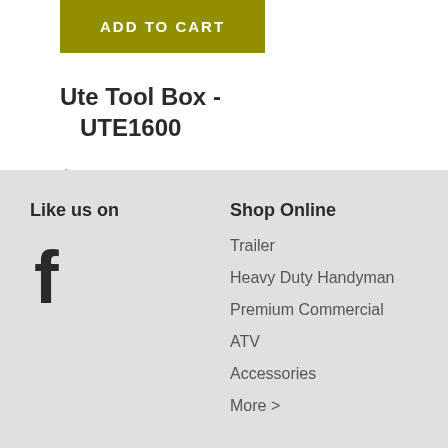ADD TO CART
Ute Tool Box - UTE1600
$795.80
incl GST
Like us on
[Figure (logo): Facebook logo icon (letter f)]
Shop Online
Trailer
Heavy Duty Handyman
Premium Commercial
ATV
Accessories
More >